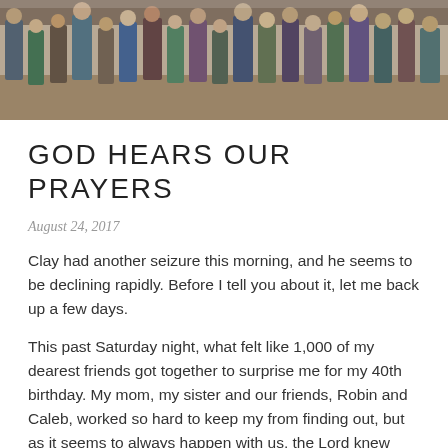[Figure (photo): Group photo of many people standing together inside what appears to be a large hall or church building, cropped to show only the lower portion with legs and bodies visible.]
GOD HEARS OUR PRAYERS
August 24, 2017
Clay had another seizure this morning, and he seems to be declining rapidly. Before I tell you about it, let me back up a few days.
This past Saturday night, what felt like 1,000 of my dearest friends got together to surprise me for my 40th birthday. My mom, my sister and our friends, Robin and Caleb, worked so hard to keep my from finding out, but as it seems to always happen with us, the Lord knew what was best. I was supposed to think it was a prayer meeting at our church for Clay, but I really knew that it was a party for me.